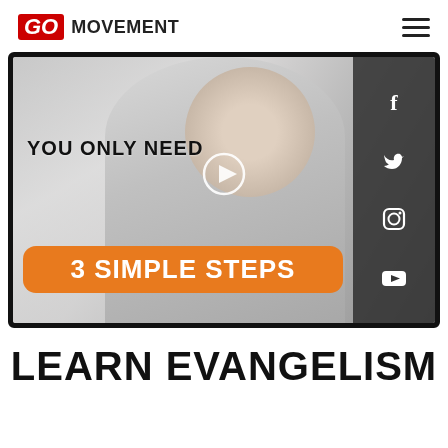GO MOVEMENT
[Figure (screenshot): Video thumbnail showing a smiling man in a striped jacket, with text overlay 'YOU ONLY NEED 3 SIMPLE STEPS', a play button in center, and social media icons (Facebook, Twitter, Instagram, YouTube) on right sidebar. Dark border framing the video.]
LEARN EVANGELISM